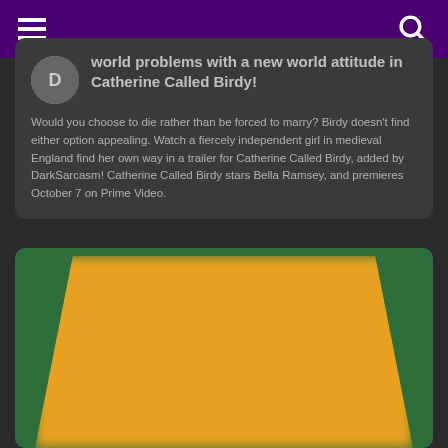world problems with a new world attitude in Catherine Called Birdy!
Would you choose to die rather than be forced to marry? Birdy doesn't find either option appealing. Watch a fiercely independent girl in medieval England find her own way in a trailer for Catherine Called Birdy, added by DarkSarcasm! Catherine Called Birdy stars Bella Ramsey, and premieres October 7 on Prime Video.
[Figure (photo): Blurred movie poster image with golden/yellow trapezoid shape on a green background, representing Catherine Called Birdy movie poster]